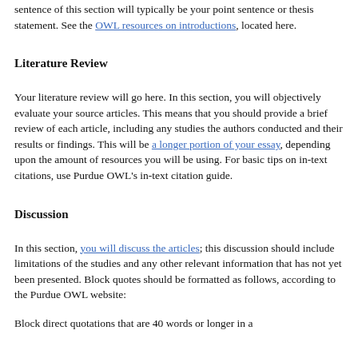sentence of this section will typically be your point sentence or thesis statement. See the OWL resources on introductions, located here.
Literature Review
Your literature review will go here. In this section, you will objectively evaluate your source articles. This means that you should provide a brief review of each article, including any studies the authors conducted and their results or findings. This will be a longer portion of your essay, depending upon the amount of resources you will be using. For basic tips on in-text citations, use Purdue OWL's in-text citation guide.
Discussion
In this section, you will discuss the articles; this discussion should include limitations of the studies and any other relevant information that has not yet been presented. Block quotes should be formatted as follows, according to the Purdue OWL website:
Block direct quotations that are 40 words or longer in a...